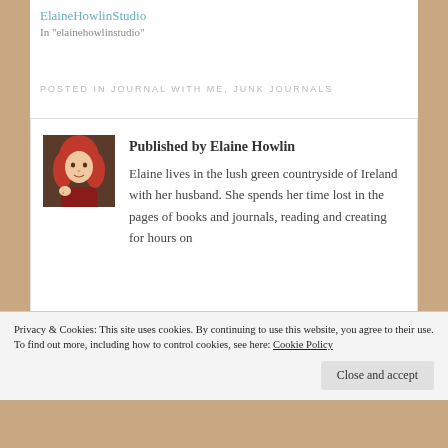ElaineHowlinStudio
In "elainehowlinstudio"
POSTED IN JOURNAL WITH ME, JUNK JOURNALS
Published by Elaine Howlin
Elaine lives in the lush green countryside of Ireland with her husband. She spends her time lost in the pages of books and journals, reading and creating for hours on
Privacy & Cookies: This site uses cookies. By continuing to use this website, you agree to their use.
To find out more, including how to control cookies, see here: Cookie Policy
Close and accept